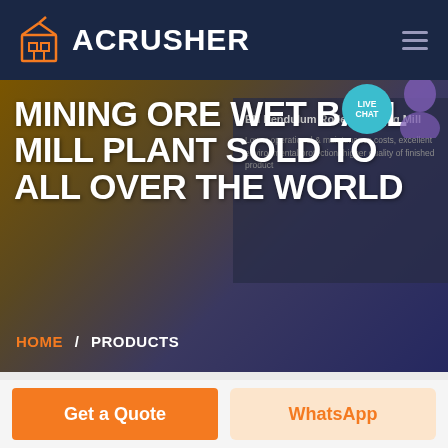ACRUSHER
MINING ORE WET BALL MILL PLANT SOLD TO ALL OVER THE WORLD
EN Pendulum Roller Grinding Mill
Lower operational & maintenance costs, excellent environmental protection, higher quality of finished product
LIVE CHAT
HOME  /  PRODUCTS
Get a Quote
WhatsApp